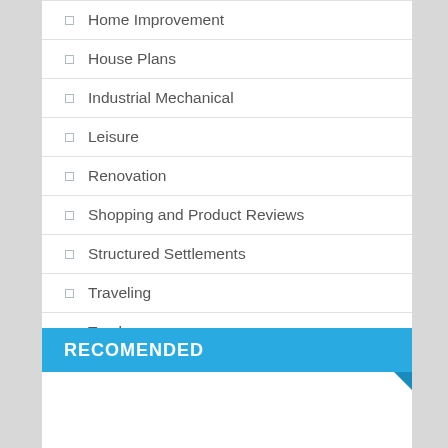Home Improvement
House Plans
Industrial Mechanical
Leisure
Renovation
Shopping and Product Reviews
Structured Settlements
Traveling
Trucks
RECOMENDED